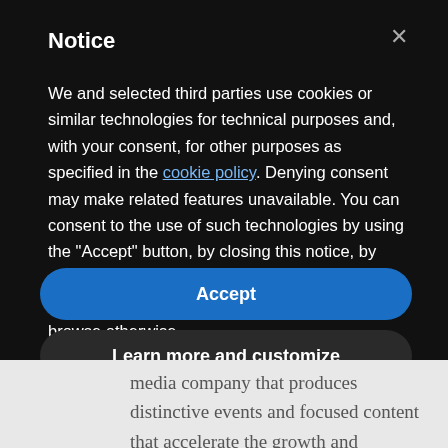Notice
We and selected third parties use cookies or similar technologies for technical purposes and, with your consent, for other purposes as specified in the cookie policy. Denying consent may make related features unavailable. You can consent to the use of such technologies by using the "Accept" button, by closing this notice, by scrolling this page, by interacting with any link or button outside of this notice or by continuing to browse otherwise.
Accept
Learn more and customize
media company that produces distinctive events and focused content that accelerate the growth and profitability of cannabis brands and retailers, announces the election of Kerry Gumas to its